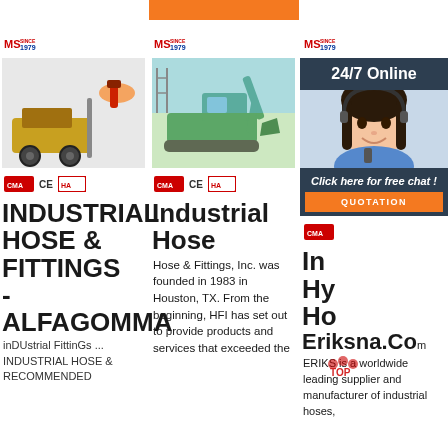[Figure (screenshot): Three-column webpage layout showing industrial hose and fittings supplier listings. Column 1: MS logo, machinery/tools image, certification badges, title INDUSTRIAL HOSE & FITTINGS - ALFAGOMMA. Column 2: MS logo, excavator image, certification badges, title Industrial Hose, body text about Hose & Fittings Inc. Column 3: MS logo, 24/7 Online chat overlay with customer service agent photo, Industrial Hydraulic Hose listing, Eriksna.com with ERIKS description. Top has orange button partially visible.]